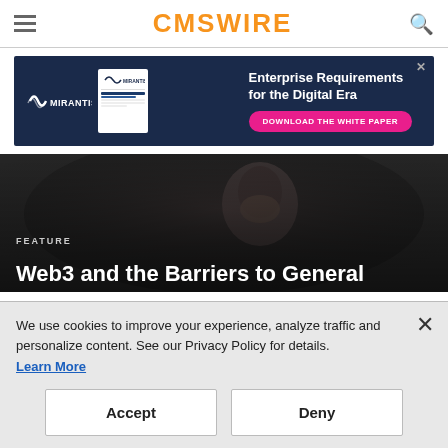CMSWIRE
[Figure (infographic): Advertisement banner for Mirantis - Enterprise Requirements for the Digital Era. Blue background with Mirantis logo, document image, text and a pink Download the White Paper button.]
[Figure (photo): Dark moody photo of a person with head in hands, appearing frustrated or stressed. Hero image for article about Web3.]
FEATURE
Web3 and the Barriers to General
We use cookies to improve your experience, analyze traffic and personalize content. See our Privacy Policy for details.
Learn More
Accept
Deny